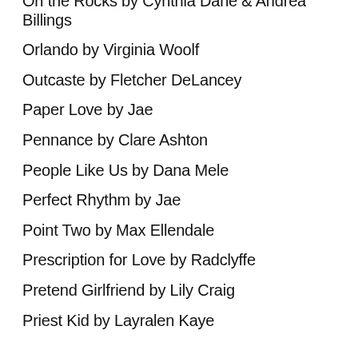On the Rocks by Cynthia Dane & Andrea Billings
Orlando by Virginia Woolf
Outcaste by Fletcher DeLancey
Paper Love by Jae
Pennance by Clare Ashton
People Like Us by Dana Mele
Perfect Rhythm by Jae
Point Two by Max Ellendale
Prescription for Love by Radclyffe
Pretend Girlfriend by Lily Craig
Priest Kid by Layralen Kaye